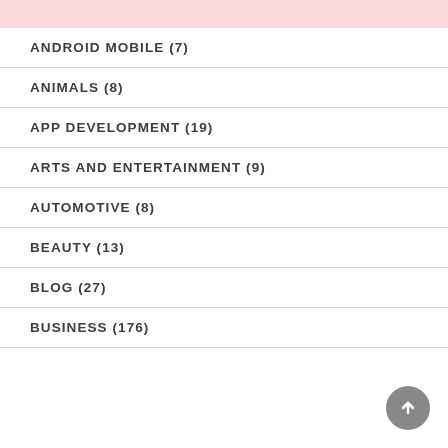ANDROID MOBILE (7)
ANIMALS (8)
APP DEVELOPMENT (19)
ARTS AND ENTERTAINMENT (9)
AUTOMOTIVE (8)
BEAUTY (13)
BLOG (27)
BUSINESS (176)